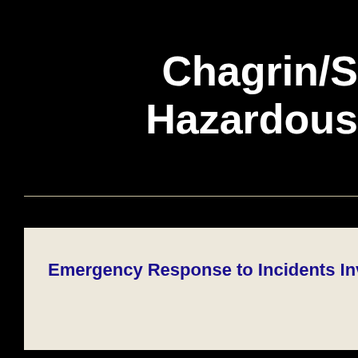Chagrin/S Hazardous
Emergency Response to Incidents Involving Haz